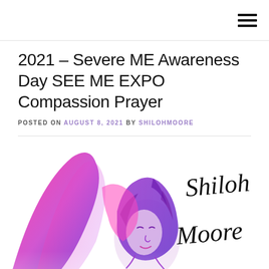≡
2021 – Severe ME Awareness Day SEE ME EXPO Compassion Prayer
POSTED ON AUGUST 8, 2021 BY SHILOHMOORE
[Figure (logo): Shiloh Moore logo: illustrated figure of a woman with flowing purple/magenta hair and pink abstract shapes, with cursive text 'Shiloh Moore' overlaid in black script]